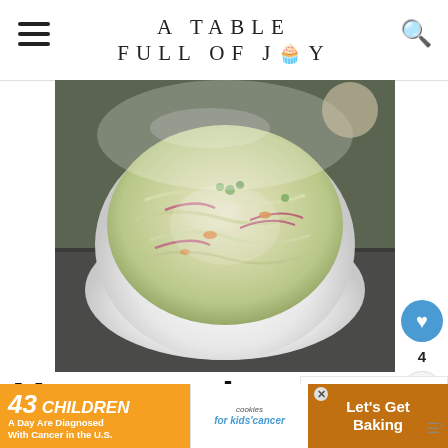A TABLE FULL OF JOY
[Figure (photo): A white bowl filled with homemade coleslaw — shredded cabbage, carrots, red onion, and parsley in a creamy dressing, photographed from above on a dark slate surface.]
Homemade Coleslaw with
[Figure (photo): Small thumbnail of Candy Cane Beignets next to a 'WHAT'S NEXT' label]
WHAT'S NEXT → Candy Cane Beignets
[Figure (infographic): Advertisement banner: '43 CHILDREN A Day Are Diagnosed With Cancer in the U.S.' with cookies for kids cancer logo and 'Let's Get Baking' call to action]